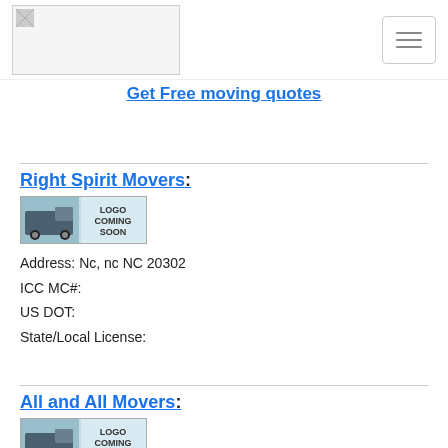[Figure (logo): Website logo placeholder image, rectangular]
Get Free moving quotes
Right Spirit Movers:
[Figure (logo): Logo Coming Soon image with truck graphic]
Address: Nc, nc NC 20302
ICC MC#:
US DOT:
State/Local License:
All and All Movers:
[Figure (logo): Logo Coming Soon image with truck graphic]
Address: 1714 Camden Rd, Greensboro NC 27103
ICC MC#:
US DOT: